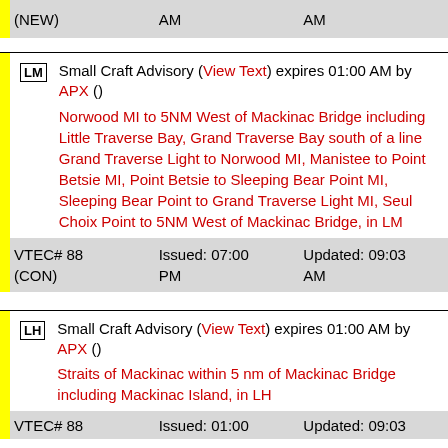| (NEW) | AM | AM |
| --- | --- | --- |
LM Small Craft Advisory (View Text) expires 01:00 AM by APX ()
Norwood MI to 5NM West of Mackinac Bridge including Little Traverse Bay, Grand Traverse Bay south of a line Grand Traverse Light to Norwood MI, Manistee to Point Betsie MI, Point Betsie to Sleeping Bear Point MI, Sleeping Bear Point to Grand Traverse Light MI, Seul Choix Point to 5NM West of Mackinac Bridge, in LM
| VTEC# 88 (CON) | Issued: 07:00 PM | Updated: 09:03 AM |
| --- | --- | --- |
LH Small Craft Advisory (View Text) expires 01:00 AM by APX ()
Straits of Mackinac within 5 nm of Mackinac Bridge including Mackinac Island, in LH
| VTEC# 88 | Issued: 01:00 | Updated: 09:03 |
| --- | --- | --- |